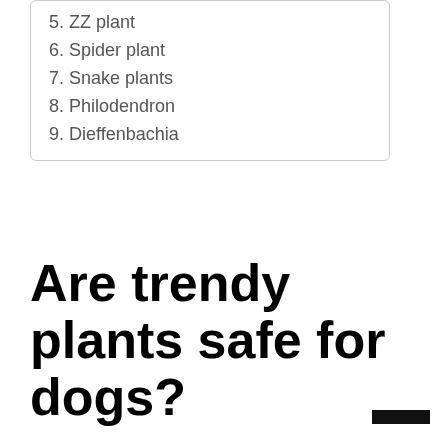5. ZZ plant
6. Spider plant
7. Snake plants
8. Philodendron
9. Dieffenbachia
Are trendy plants safe for dogs?